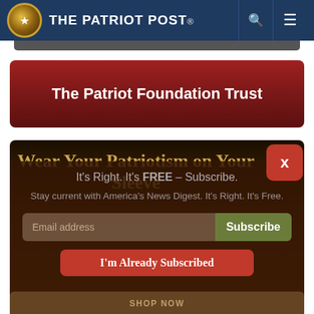The Patriot Post
The Patriot Foundation Trust
Wear Your Patriotism on Your Sleeve
It's Right. It's FREE – Subscribe. Stay current with America's News Digest. It's Right. It's Free.
Email address
Subscribe
I'm Already Subscribed
SHOP NOW